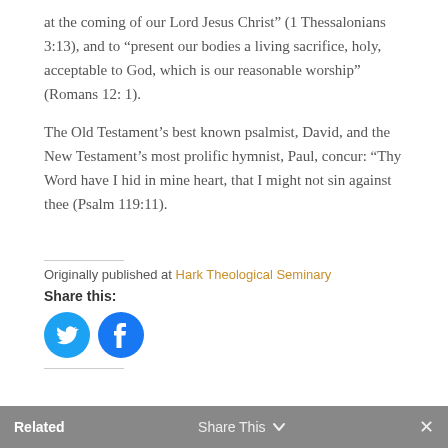at the coming of our Lord Jesus Christ” (1 Thessalonians 3:13), and to “present our bodies a living sacrifice, holy, acceptable to God, which is our reasonable worship” (Romans 12: 1).
The Old Testament’s best known psalmist, David, and the New Testament’s most prolific hymnist, Paul, concur: “Thy Word have I hid in mine heart, that I might not sin against thee (Psalm 119:11).
Originally published at Hark Theological Seminary
Share this:
[Figure (illustration): Twitter bird icon (white bird on blue circle) and Facebook f icon (white f on blue circle) social sharing buttons]
Related   Share This   ✕